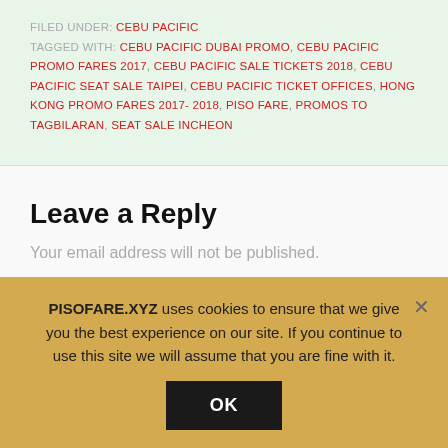FILED UNDER: CEBU PACIFIC
TAGGED WITH: CEBU PACIFIC DUBAI PROMO, CEBU PACIFIC PROMO FARES 2017, CEBU PACIFIC SALE TICKETS 2018, CEBU PACIFIC SEAT SALE TAIPEI, CEBU PACIFIC TICKET OFFICES, HONG KONG PROMO FARES 2017-2018, PISO FARE, PROMOS TO TAGBILARAN, SEAT SALE INCHEON
Leave a Reply
Your email address will not be published.
PISOFARE.XYZ uses cookies to ensure that we give you the best experience on our site. If you continue to use this site we will assume that you are fine with it.